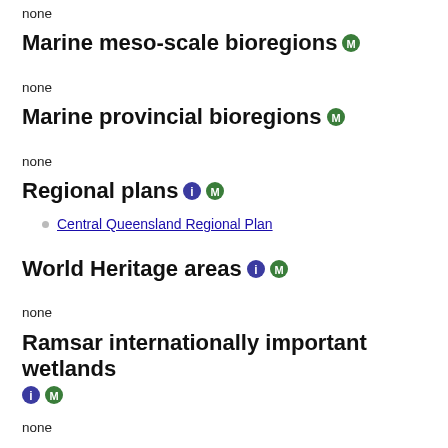none
Marine meso-scale bioregions
none
Marine provincial bioregions
none
Regional plans
Central Queensland Regional Plan
World Heritage areas
none
Ramsar internationally important wetlands
none